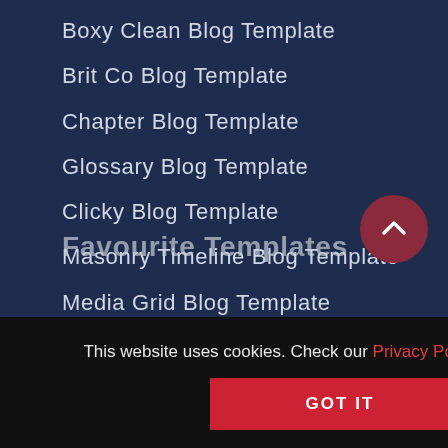Boxy Clean Blog Template
Brit Co Blog Template
Chapter Blog Template
Glossary Blog Template
Clicky Blog Template
Masonry Timeline Blog Template
Media Grid Blog Template
My Diary Blog Template
Favourite Templates
This website uses cookies. Check our Privacy Policy for more detail.
GOT IT